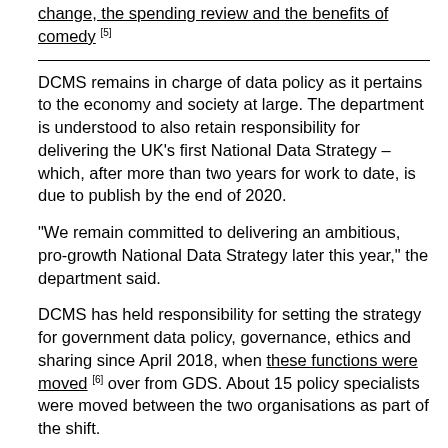change, the spending review and the benefits of comedy [5]
DCMS remains in charge of data policy as it pertains to the economy and society at large. The department is understood to also retain responsibility for delivering the UK's first National Data Strategy – which, after more than two years for work to date, is due to publish by the end of 2020.
“We remain committed to delivering an ambitious, pro-growth National Data Strategy later this year,” the department said.
DCMS has held responsibility for setting the strategy for government data policy, governance, ethics and sharing since April 2018, when these functions were moved [6] over from GDS. About 15 policy specialists were moved between the two organisations as part of the shift.
At the time, many onlookers saw the move as a significant blow – at least symbolically – to GDS’s ability to drive change from the centre of government. The decision even led some to speculate as to whether the digital agency would remain part of the Cabinet Office, or if it might be